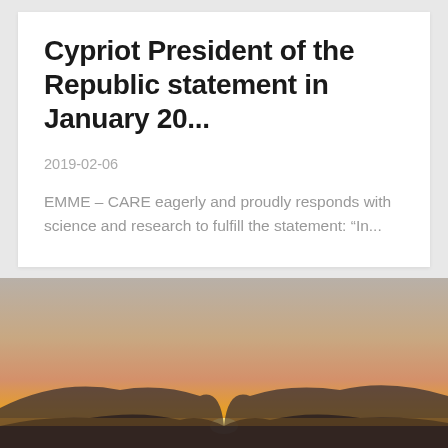Cypriot President of the Republic statement in January 20...
2019-02-06
EMME – CARE eagerly and proudly responds with science and research to fulfill the statement: “In...
[Figure (photo): Sunset landscape with sun rising or setting behind silhouetted hills, warm orange and amber tones in sky]